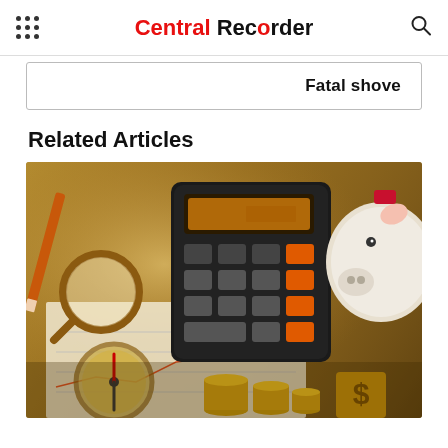Central Recorder
Fatal shove
Related Articles
[Figure (photo): Finance themed photo showing a calculator, piggy bank, coins stacked, compass, magnifying glass, dollar sign, and financial charts on a wooden desk background]